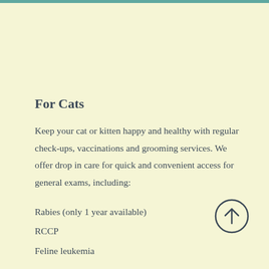For Cats
Keep your cat or kitten happy and healthy with regular check-ups, vaccinations and grooming services. We offer drop in care for quick and convenient access for general exams, including:
Rabies (only 1 year available)
RCCP
Feline leukemia